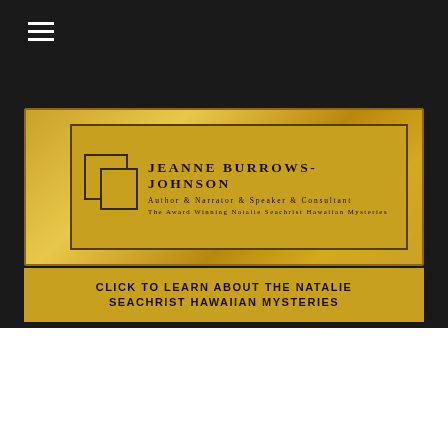[Figure (logo): Jeanne Burrows-Johnson banner logo with decorative gold frame, overlapping square logo mark, and text: JEANNE BURROWS-JOHNSON / Author & Narrator & Speaker & Consultant / The Award Winning Natalie Seachrist Hawaiian Mysteries]
CLICK TO LEARN ABOUT THE NATALIE SEACHRIST HAWAIIAN MYSTERIES
HAWAI ' I: Robert W. K. Wilcox